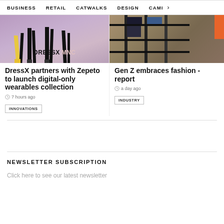BUSINESS  RETAIL  CATWALKS  DESIGN  CAMI  >
[Figure (photo): Fashion photo showing legs with high heels on a purple/pink background with DRESSXMNC logo overlay]
DressX partners with Zepeto to launch digital-only wearables collection
7 hours ago
INNOVATIONS
[Figure (photo): Photo showing dark clothing racks and shelving with an orange bar on the right side]
Gen Z embraces fashion - report
a day ago
INDUSTRY
NEWSLETTER SUBSCRIPTION
Click here to see our latest newsletter